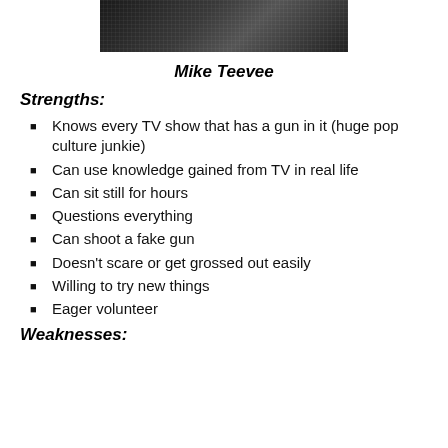[Figure (photo): Cropped photo of Mike Teevee, dark clothing with mesh/grid pattern visible]
Mike Teevee
Strengths:
Knows every TV show that has a gun in it (huge pop culture junkie)
Can use knowledge gained from TV in real life
Can sit still for hours
Questions everything
Can shoot a fake gun
Doesn't scare or get grossed out easily
Willing to try new things
Eager volunteer
Weaknesses: